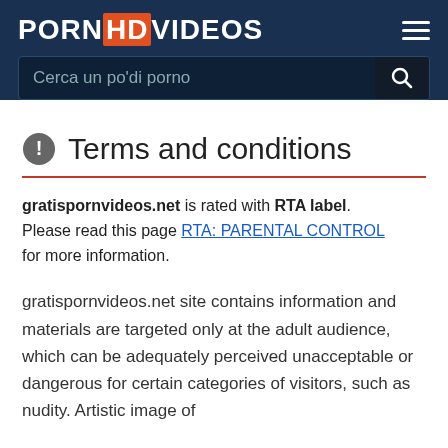PORNHDVIDEOS
Cerca un po'di porno
Terms and conditions
gratispornvideos.net is rated with RTA label. Please read this page RTA: PARENTAL CONTROL for more information.
gratispornvideos.net site contains information and materials are targeted only at the adult audience, which can be adequately perceived unacceptable or dangerous for certain categories of visitors, such as nudity. Artistic image of